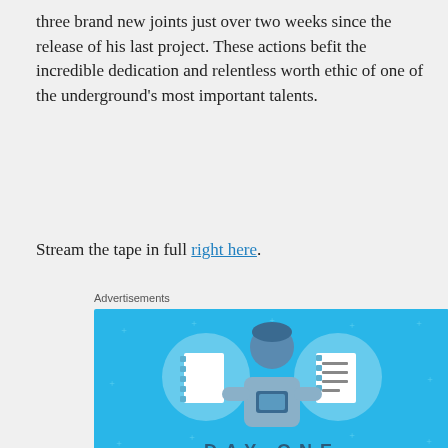three brand new joints just over two weeks since the release of his last project. These actions befit the incredible dedication and relentless worth ethic of one of the underground's most important talents.
Stream the tape in full right here.
Advertisements
[Figure (illustration): Day One app advertisement on blue background. Shows illustrated person holding a phone flanked by two circular icons (notebook and checklist). Text reads: DAY ONE, The only journaling app you'll ever need. Button: Get the app.]